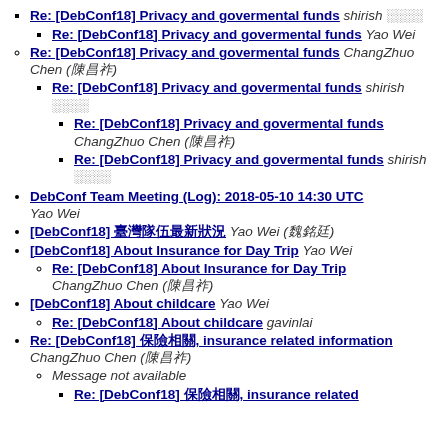Re: [DebConf18] Privacy and govermental funds  shirish ████  Re: [DebConf18] Privacy and govermental funds  Yao Wei
Re: [DebConf18] Privacy and govermental funds  ChangZhuo Chen (陳昌祚)  Re: [DebConf18] Privacy and govermental funds  shirish ████  Re: [DebConf18] Privacy and govermental funds  ChangZhuo Chen (陳昌祚)  Re: [DebConf18] Privacy and govermental funds  shirish ████
DebConf Team Meeting (Log): 2018-05-10 14:30 UTC  Yao Wei
[DebConf18] 臺灣隊伍最新狀況  Yao Wei (魏銘廷)
[DebConf18] About Insurance for Day Trip  Yao Wei  Re: [DebConf18] About Insurance for Day Trip  ChangZhuo Chen (陳昌祚)
[DebConf18] About childcare  Yao Wei  Re: [DebConf18] About childcare  gavinlai
Re: [DebConf18] 保險相關, insurance related information  ChangZhuo Chen (陳昌祚)  Message not available  Re: [DebConf18] 保險相關, insurance related